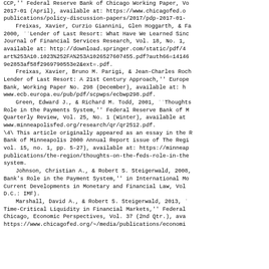CCP,'' Federal Reserve Bank of Chicago Working Paper, Vol. 2017-01 (April), available at: https://www.chicagofed.org/publications/policy-discussion-papers/2017/pdp-2017-01-p
Freixas, Xavier, Curzio Giannini, Glen Hoggarth, & Farouk Soussa, 2000, ``Lender of Last Resort: What Have We Learned Since Bagehot?'' Journal of Financial Services Research, Vol. 18, No. 1, pp. 63-84, available at: http://download.springer.com/static/pdf/45/art%253A10.1023%252FA%253A1026527607455.pdf?auth66=14146...9e2853af58f2969790553e2&ext=.pdf.
Freixas, Xavier, Bruno M. Parigi, & Jean-Charles Rochet, 2004, ``The Lender of Last Resort: A 21st Century Approach,'' European Central Bank, Working Paper No. 298 (December), available at: http://www.ecb.europa.eu/pub/pdf/scpwps/ecbwp298.pdf.
Green, Edward J., & Richard M. Todd, 2001, ``Thoughts on the Fed's Role in the Payments System,'' Federal Reserve Bank of Minneapolis Quarterly Review, Vol. 25, No. 1 (Winter), available at: http://www.minneapolisfed.org/research/qr/qr2512.pdf.
\4\ This article originally appeared as an essay in the Federal Reserve Bank of Minneapolis 2000 Annual Report issue of The Region (vol. 15, no. 1, pp. 5-27), available at: https://minneapolisfed.org/publications/the-region/thoughts-on-the-feds-role-in-the-payments-system.
Johnson, Christian A., & Robert S. Steigerwald, 2008, ``A Central Bank's Role in the Payment System,'' in International Monetary Fund, Current Developments in Monetary and Financial Law, Vol. 4 (Washington, D.C.: IMF).
Marshall, David A., & Robert S. Steigerwald, 2013, ``The Role of Time-Critical Liquidity in Financial Markets,'' Federal Reserve Bank of Chicago, Economic Perspectives, Vol. 37 (2nd Qtr.), available at: https://www.chicagofed.org/~/media/publications/economic-perspectives/...